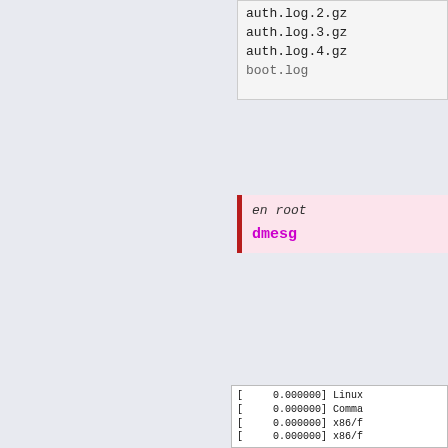[Figure (screenshot): Top portion of a file listing in a terminal/code block showing auth.log.3.gz, auth.log.4.gz, boot.log (partially visible)]
en root
dmesg
[Figure (screenshot): Terminal output of dmesg command showing lines: [    0.000000] Linux, [    0.000000] Comma, [    0.000000] x86/f (x5 lines), [    0.000000] BIOS- (multiple lines)]